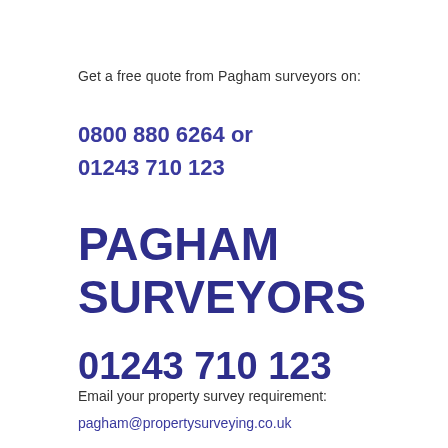Get a free quote from Pagham surveyors on:
0800 880 6264 or
01243 710 123
PAGHAM SURVEYORS
01243 710 123
Email your property survey requirement:
pagham@propertysurveying.co.uk